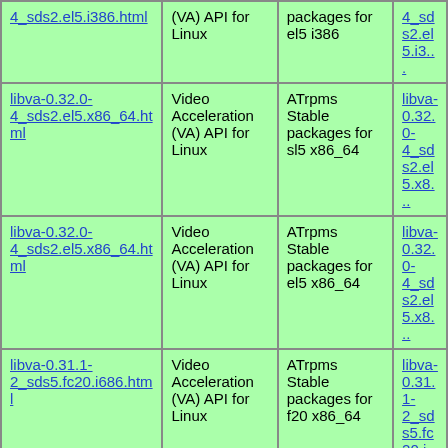| Package | Description | Repository | Link |
| --- | --- | --- | --- |
| libva-0.32.0-4_sds2.el5.i386.html | Video Acceleration (VA) API for Linux | ATrpms Stable packages for el5 i386 | libva-0.32.0-4_sds2.el5.i3... |
| libva-0.32.0-4_sds2.el5.x86_64.html | Video Acceleration (VA) API for Linux | ATrpms Stable packages for sl5 x86_64 | libva-0.32.0-4_sds2.el5.x8... |
| libva-0.32.0-4_sds2.el5.x86_64.html | Video Acceleration (VA) API for Linux | ATrpms Stable packages for el5 x86_64 | libva-0.32.0-4_sds2.el5.x8... |
| libva-0.31.1-2_sds5.fc20.i686.html | Video Acceleration (VA) API for Linux | ATrpms Stable packages for f20 x86_64 | libva-0.31.1-2_sds5.fc20.i... |
| libva-0.31.1-2_sds5.fc20.i686.html | Video Acceleration (VA) API for Linux | ATrpms Stable packages for f20 i386 | libva-0.31.1-2_sds5.fc20.i... |
| libva-0.31.1-2_sds5.fc20.x86_64.html | Video Acceleration (VA) API for Linux | ATrpms Stable packages | libva-0.31.1-2_sds5.fc20... |